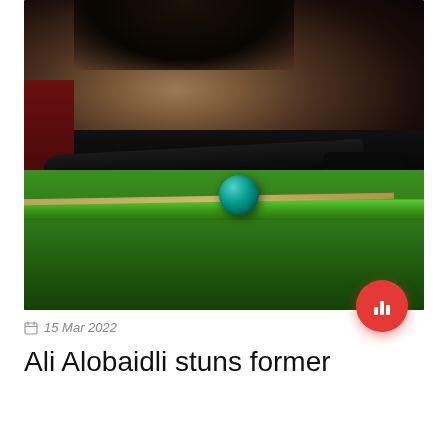[Figure (photo): A snooker player wearing a black jacket and fingerless glove leans over a green snooker table, lining up a shot. A teal/blue snooker ball is visible on the green felt in the foreground. The background is dark and blurred with bokeh.]
15 Mar 2022
Ali Alobaidli stuns former